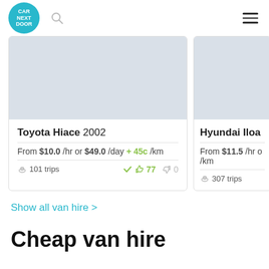CAR NEXT DOOR
[Figure (screenshot): Car listing card: Toyota Hiace 2002, From $10.0/hr or $49.0/day + 45c/km, 101 trips, 77 thumbs up, 0 thumbs down]
[Figure (screenshot): Car listing card (partial): Hyundai Iloa..., From $11.5/hr ..., 307 trips]
Show all van hire >
Cheap van hire